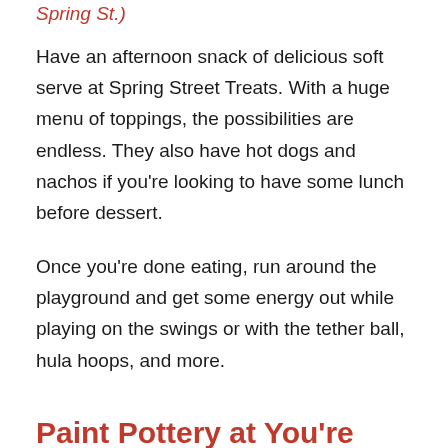Spring St.)
Have an afternoon snack of delicious soft serve at Spring Street Treats. With a huge menu of toppings, the possibilities are endless. They also have hot dogs and nachos if you're looking to have some lunch before dessert.
Once you're done eating, run around the playground and get some energy out while playing on the swings or with the tether ball, hula hoops, and more.
Paint Pottery at You're Fired